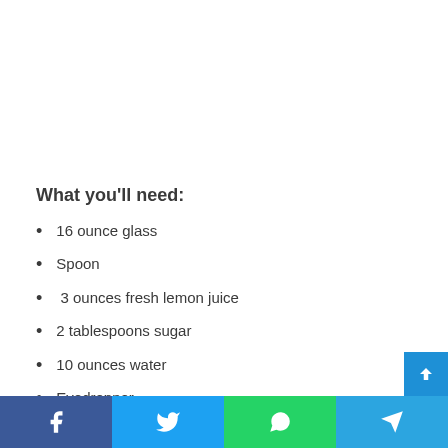What you'll need:
16 ounce glass
Spoon
3 ounces fresh lemon juice
2 tablespoons sugar
10 ounces water
Eyedropper